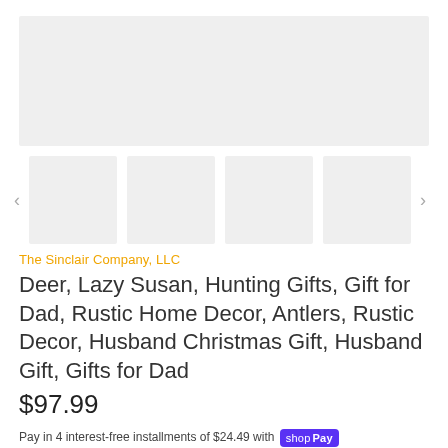[Figure (photo): Main product image placeholder (light gray rectangle)]
[Figure (photo): Row of four thumbnail image placeholders with left and right navigation arrows]
The Sinclair Company, LLC
Deer, Lazy Susan, Hunting Gifts, Gift for Dad, Rustic Home Decor, Antlers, Rustic Decor, Husband Christmas Gift, Husband Gift, Gifts for Dad
$97.99
Pay in 4 interest-free installments of $24.49 with shop Pay
Learn more